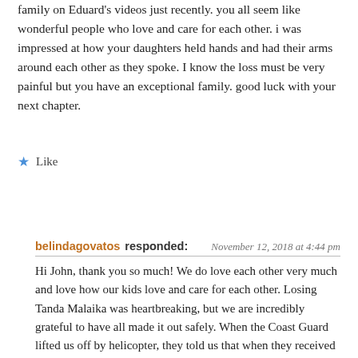family on Eduard's videos just recently. you all seem like wonderful people who love and care for each other. i was impressed at how your daughters held hands and had their arms around each other as they spoke. I know the loss must be very painful but you have an exceptional family. good luck with your next chapter.
★ Like
REPLY
belindagovatos responded: November 12, 2018 at 4:44 pm
Hi John, thank you so much! We do love each other very much and love how our kids love and care for each other. Losing Tanda Malaika was heartbreaking, but we are incredibly grateful to have all made it out safely. When the Coast Guard lifted us off by helicopter, they told us that when they received our Mayday, they instantly thought back to shipwrecks they'd attended to previously on the same reef we were on, where bodies lay motionless all over the reef, and were relieved to hear that all 6 of us were alive. We have so much to be grateful for! Thank you so much for reaching out. Are you a sailor as